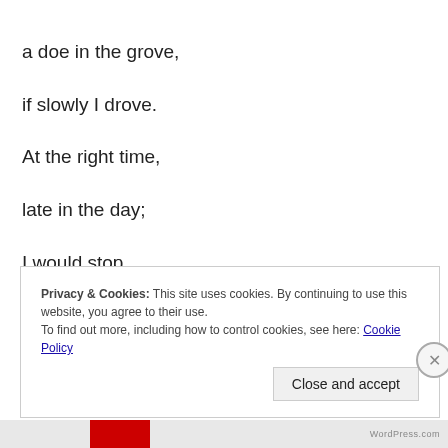a doe in the grove,
if slowly I drove.
At the right time,
late in the day;
I would stop,
and watch the beaver play.
Privacy & Cookies: This site uses cookies. By continuing to use this website, you agree to their use. To find out more, including how to control cookies, see here: Cookie Policy
Close and accept